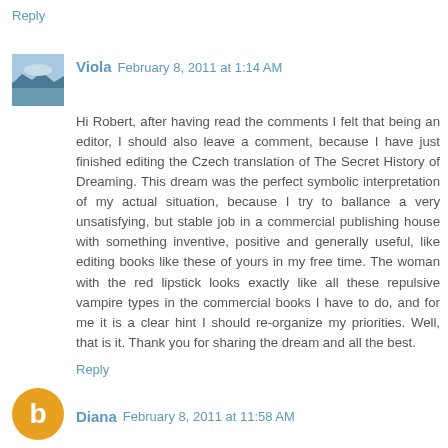Reply
Viola  February 8, 2011 at 1:14 AM
[Figure (photo): Avatar photo of Viola showing a mountain lake landscape]
Hi Robert, after having read the comments I felt that being an editor, I should also leave a comment, because I have just finished editing the Czech translation of The Secret History of Dreaming. This dream was the perfect symbolic interpretation of my actual situation, because I try to ballance a very unsatisfying, but stable job in a commercial publishing house with something inventive, positive and generally useful, like editing books like these of yours in my free time. The woman with the red lipstick looks exactly like all these repulsive vampire types in the commercial books I have to do, and for me it is a clear hint I should re-organize my priorities. Well, that is it. Thank you for sharing the dream and all the best.
Reply
Diana  February 8, 2011 at 11:58 AM
[Figure (illustration): Orange circle avatar with letter B for Diana commenter]